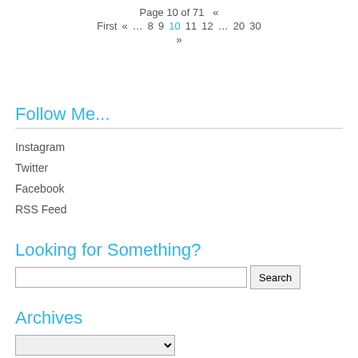Page 10 of 71 « First « ... 8 9 10 11 12 ... 20 30 »
Follow Me...
Instagram
Twitter
Facebook
RSS Feed
Looking for Something?
[Search box with Search button]
Archives